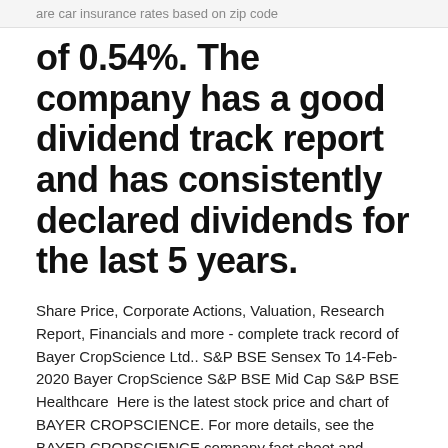are car insurance rates based on zip code
of 0.54%. The company has a good dividend track report and has consistently declared dividends for the last 5 years.
Share Price, Corporate Actions, Valuation, Research Report, Financials and more - complete track record of Bayer CropScience Ltd.. S&P BSE Sensex To 14-Feb-2020 Bayer CropScience S&P BSE Mid Cap S&P BSE Healthcare  Here is the latest stock price and chart of BAYER CROPSCIENCE. For more details, see the BAYER CROPSCIENCE company fact sheet and quarterly results . New Delhi, India: India Today Group. p. 10. via Internet Archive. ^ "Ajanta Pharma Ltd Live Stock Price,